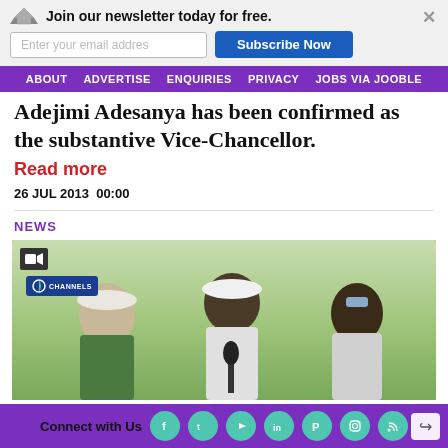Join our newsletter today for free. [email input] Subscribe Now
ABOUT  ADVERTISE  ENQUIRIES  PRIVACY  JOBS VIA JOOBLE
Adejimi Adesanya has been confirmed as the substantive Vice-Chancellor.
Read more
26 JUL 2013  00:00
NEWS
[Figure (screenshot): Video thumbnail showing people at an outdoor event with a microphone, Channels TV logo visible in top left corner, video camera icon in overlay]
Connect with Us [Facebook] [Twitter] [YouTube] [LinkedIn] [Pinterest] [Instagram] [RSS]